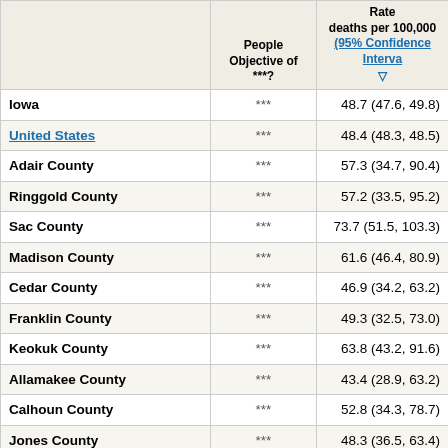|  | People Objective of ***? | Rate deaths per 100,000 (95% Confidence Interval) |
| --- | --- | --- |
| Iowa | *** | 48.7 (47.6, 49.8) |
| United States | *** | 48.4 (48.3, 48.5) |
| Adair County | *** | 57.3 (34.7, 90.4) |
| Ringgold County | *** | 57.2 (33.5, 95.2) |
| Sac County | *** | 73.7 (51.5, 103.3) |
| Madison County | *** | 61.6 (46.4, 80.9) |
| Cedar County | *** | 46.9 (34.2, 63.2) |
| Franklin County | *** | 49.3 (32.5, 73.0) |
| Keokuk County | *** | 63.8 (43.2, 91.6) |
| Allamakee County | *** | 43.4 (28.9, 63.2) |
| Calhoun County | *** | 52.8 (34.3, 78.7) |
| Jones County | *** | 48.3 (36.5, 63.4) |
| Monroe County | *** | 63.9 (42.3, 94.2) |
| Greene County | *** | 48.2 (30.9, 73.3) |